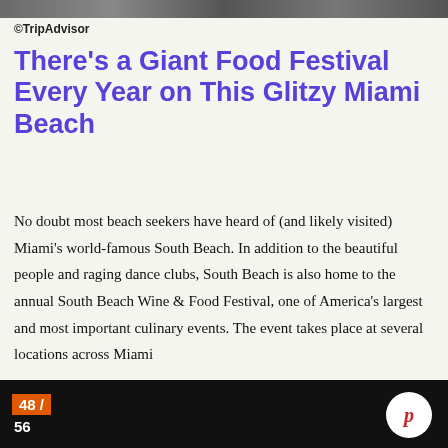[Figure (photo): Top image bar showing partial beach or food festival photo]
©TripAdvisor
There's a Giant Food Festival Every Year on This Glitzy Miami Beach
No doubt most beach seekers have heard of (and likely visited) Miami's world-famous South Beach. In addition to the beautiful people and raging dance clubs, South Beach is also home to the annual South Beach Wine & Food Festival, one of America's largest and most important culinary events. The event takes place at several locations across Miami
[Figure (screenshot): Video overlay: thumbnail of a woman looking surprised, with text 'Video of the Day: - How K-Pop Star Jackson Wang Gets Ready for a Sold-Out Show', with a close (×) button]
48 / 56